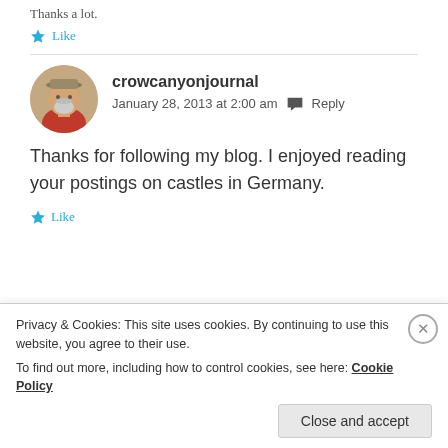Thanks a lot.
Like
crowcanyonjournal
January 28, 2013 at 2:00 am   Reply
Thanks for following my blog. I enjoyed reading your postings on castles in Germany.
Like
Privacy & Cookies: This site uses cookies. By continuing to use this website, you agree to their use.
To find out more, including how to control cookies, see here: Cookie Policy
Close and accept